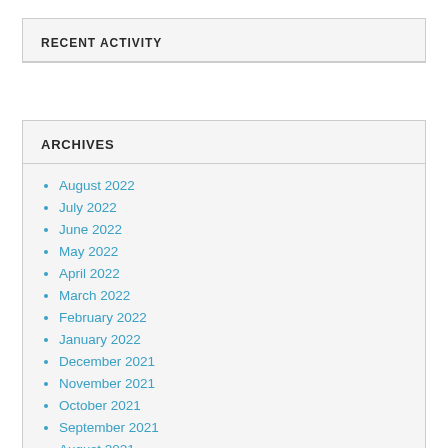RECENT ACTIVITY
ARCHIVES
August 2022
July 2022
June 2022
May 2022
April 2022
March 2022
February 2022
January 2022
December 2021
November 2021
October 2021
September 2021
August 2021